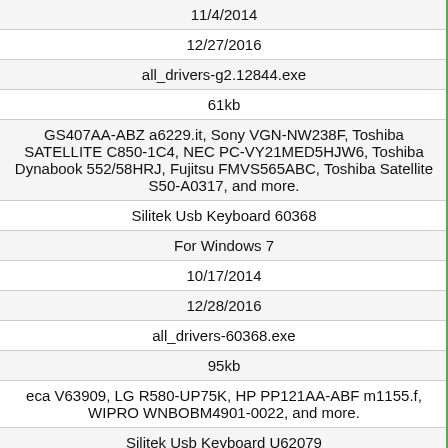| 11/4/2014 |
| 12/27/2016 |
| all_drivers-g2.12844.exe |
| 61kb |
| GS407AA-ABZ a6229.it, Sony VGN-NW238F, Toshiba SATELLITE C850-1C4, NEC PC-VY21MED5HJW6, Toshiba Dynabook 552/58HRJ, Fujitsu FMVS565ABC, Toshiba Satellite S50-A0317, and more. |
| Silitek Usb Keyboard 60368 |
| For Windows 7 |
| 10/17/2014 |
| 12/28/2016 |
| all_drivers-60368.exe |
| 95kb |
| eca V63909, LG R580-UP75K, HP PP121AA-ABF m1155.f, WIPRO WNBOBM4901-0022, and more. |
| Silitek Usb Keyboard U62079 |
| For Windows 10 |
| 10/16/2014 |
| 12/27/2016 |
| all_drivers-u62079.exe |
| 142kb |